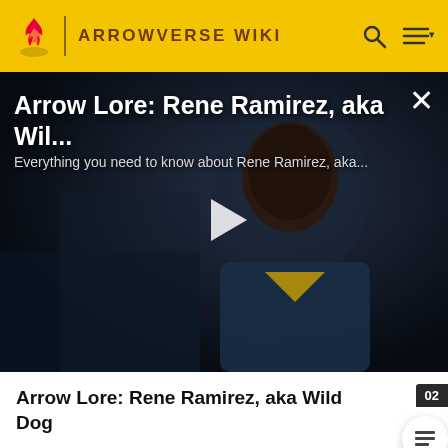ARROWVERSE WIKI
[Figure (screenshot): Video thumbnail showing a dark-skinned man in a blue costume/outfit with yellow V-shape on chest, against a dark background. Overlaid with video title and play button.]
Arrow Lore: Rene Ramirez, aka Wild Dog
Joining Team Arrow
[Figure (other): Content placeholder box at bottom]